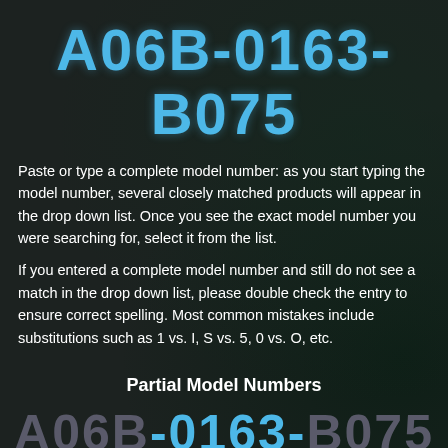A06B-0163-B075
Paste or type a complete model number: as you start typing the model number, several closely matched products will appear in the drop down list. Once you see the exact model number you were searching for, select it from the list.
If you entered a complete model number and still do not see a match in the drop down list, please double check the entry to ensure correct spelling. Most common mistakes include substitutions such as 1 vs. I, S vs. 5, 0 vs. O, etc.
Partial Model Numbers
A06B-0163-B075
Type a partial model number and hit "Enter" or click the